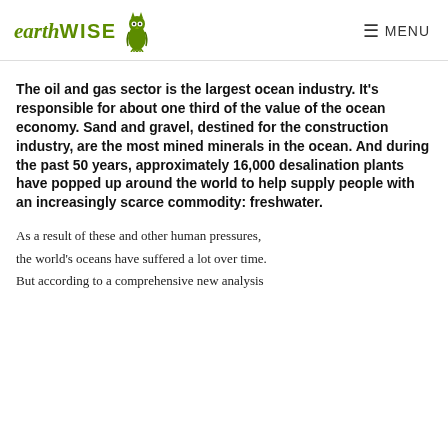earthWISE [logo with owl] MENU
The oil and gas sector is the largest ocean industry. It's responsible for about one third of the value of the ocean economy. Sand and gravel, destined for the construction industry, are the most mined minerals in the ocean. And during the past 50 years, approximately 16,000 desalination plants have popped up around the world to help supply people with an increasingly scarce commodity: freshwater.
As a result of these and other human pressures, the world's oceans have suffered a lot over time. But according to a comprehensive new analysis